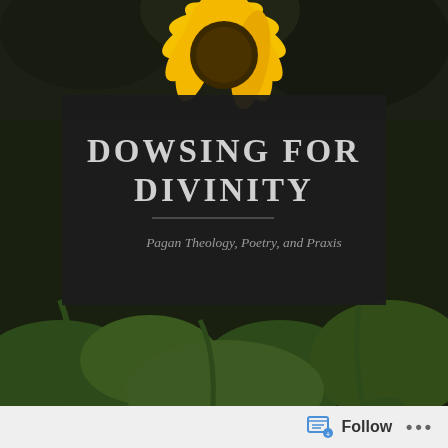[Figure (photo): Garden background photo with sunflower at top center, red flowers on left and right, green vines and leaves, dark trees in background. A dark semi-transparent overlay box contains the site title and tagline.]
DOWSING FOR DIVINITY
Pagan Theology, Poetry, and Praxis
[Figure (other): Navigation bar with hamburger menu icon on the left and search icon on the right, dark background.]
Book Insights 2023...
[Figure (screenshot): WordPress Follow button bar at the bottom with Follow button and more options (...)]